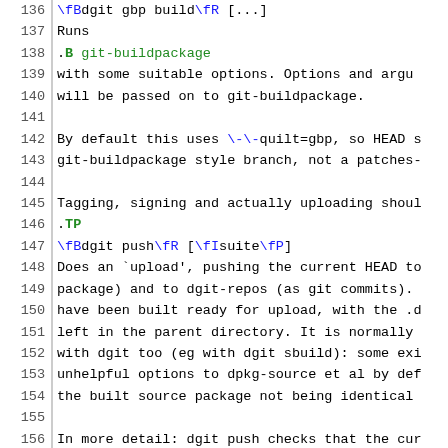136-166: man page source code for dgit, showing command documentation including git-buildpackage, .TP, dgit push, and related text.